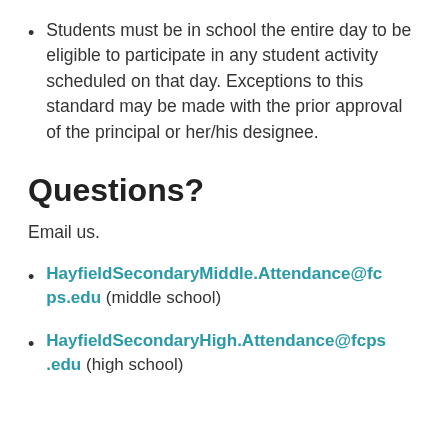Students must be in school the entire day to be eligible to participate in any student activity scheduled on that day. Exceptions to this standard may be made with the prior approval of the principal or her/his designee.
Questions?
Email us.
HayfieldSecondaryMiddle.Attendance@fcps.edu (middle school)
HayfieldSecondaryHigh.Attendance@fcps.edu (high school)